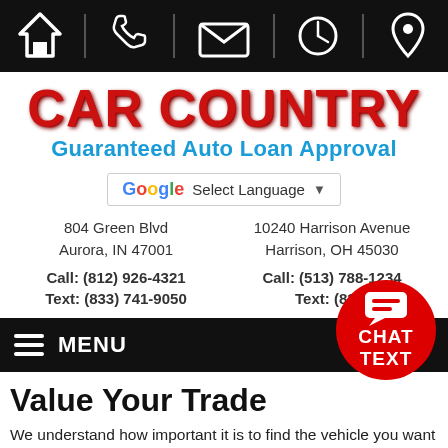Navigation bar with home, phone, email, clock, and location icons
CAR COUNTRY
Guaranteed Auto Loan Approval
Select Language
804 Green Blvd
Aurora, IN 47001
Call: (812) 926-4321
Text: (833) 741-9050
10240 Harrison Avenue
Harrison, OH 45030
Call: (513) 788-1234
Text: (833)…
MENU
Value Your Trade
We understand how important it is to find the vehicle you want at a price you can afford. Let us help you maximize your opportunities and spending power by getting the